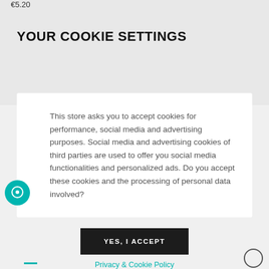€5.20
YOUR COOKIE SETTINGS
This store asks you to accept cookies for performance, social media and advertising purposes. Social media and advertising cookies of third parties are used to offer you social media functionalities and personalized ads. Do you accept these cookies and the processing of personal data involved?
YES, I ACCEPT
Privacy & Cookie Policy
MORE INFORMATION